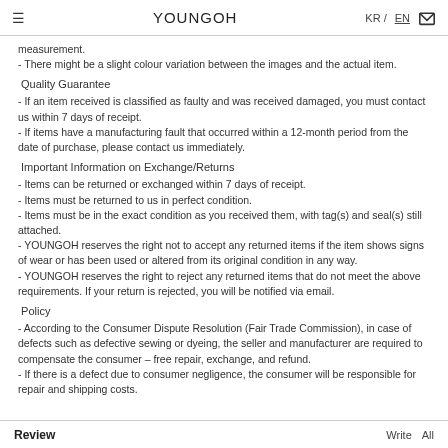≡   YOUNGOH   KR / EN  🛒
measurement.
- There might be a slight colour variation between the images and the actual item.
Quality Guarantee
- If an item received is classified as faulty and was received damaged, you must contact us within 7 days of receipt.
- If items have a manufacturing fault that occurred within a 12-month period from the date of purchase, please contact us immediately.
Important Information on Exchange/Returns
- Items can be returned or exchanged within 7 days of receipt.
- Items must be returned to us in perfect condition.
- Items must be in the exact condition as you received them, with tag(s) and seal(s) still attached.
- YOUNGOH reserves the right not to accept any returned items if the item shows signs of wear or has been used or altered from its original condition in any way.
- YOUNGOH reserves the right to reject any returned items that do not meet the above requirements. If your return is rejected, you will be notified via email.
Policy
- According to the Consumer Dispute Resolution (Fair Trade Commission), in case of defects such as defective sewing or dyeing, the seller and manufacturer are required to compensate the consumer – free repair, exchange, and refund.
- If there is a defect due to consumer negligence, the consumer will be responsible for repair and shipping costs.
Review   Write   All